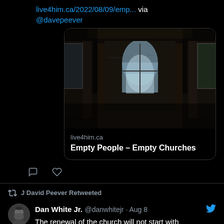live4him.ca/2022/08/09/emp... via @davepeever
[Figure (screenshot): Twitter link preview card showing an abandoned church interior with graffiti-covered walls, tall windows, and dark flooring. Card displays 'live4him.ca' domain and title 'Empty People – Empty Churches']
J David Peever Retweeted
Dan White Jr. @danwhitejr · Aug 8
The renewal of the church will not start with microphones on stages, it will start with meals around tables.